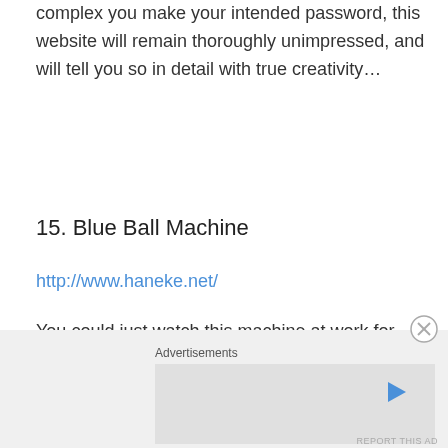complex you make your intended password, this website will remain thoroughly unimpressed, and will tell you so in detail with true creativity…
15. Blue Ball Machine
http://www.haneke.net/
You could just watch this machine at work for hours and still not quite see everything there is to see. This website showcases blue dots moving through an intricate factory machine, and it is most captivating to watch. But, of course, completely useless to watch.
Advertisements